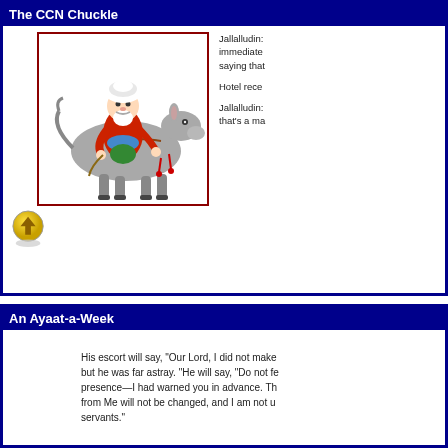The CCN Chuckle
[Figure (illustration): Cartoon illustration of Mulla Nasruddin (man in turban and red robe) riding a donkey]
Jallalludin: immediately saying that

Hotel rece

Jallalludin: that's a ma
[Figure (other): Yellow arrow button pointing upward]
An Ayaat-a-Week
His escort will say, "Our Lord, I did not make but he was far astray. "He will say, "Do not fe presence—I had warned you in advance. Th from Me will not be changed, and I am not u servants."